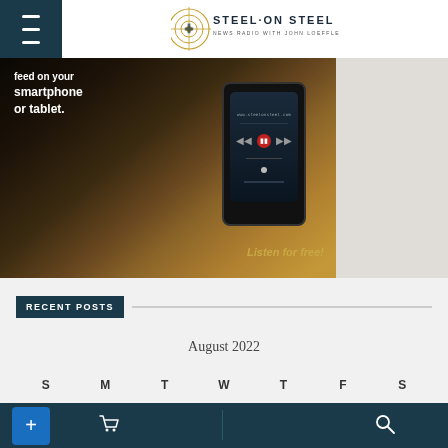Steel on Steel — News Radio with John Loeffler
[Figure (photo): Hand holding a smartphone with audio player app open, rainy background, text overlay: 'feed on your smartphone or tablet.' and 'Listen for free!']
RECENT POSTS
August 2022
| S | M | T | W | T | F | S |
| --- | --- | --- | --- | --- | --- | --- |
Navigation bar with plus, cart, and search icons